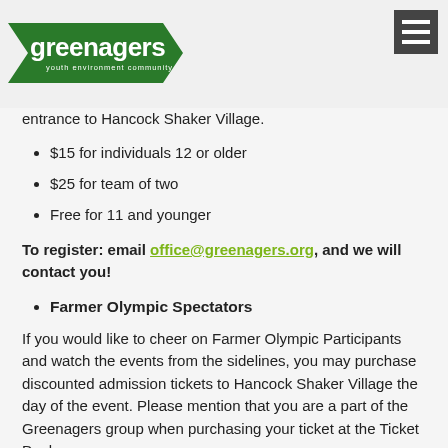Greenagers — youth environment community
entrance to Hancock Shaker Village.
$15 for individuals 12 or older
$25 for team of two
Free for 11 and younger
To register: email office@greenagers.org, and we will contact you!
Farmer Olympic Spectators
If you would like to cheer on Farmer Olympic Participants and watch the events from the sidelines, you may purchase discounted admission tickets to Hancock Shaker Village the day of the event. Please mention that you are a part of the Greenagers group when purchasing your ticket at the Ticket Desk.